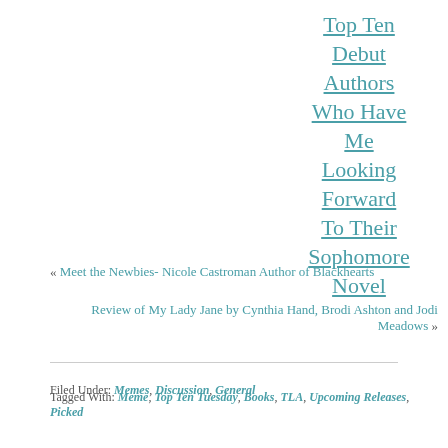Top Ten Debut Authors Who Have Me Looking Forward To Their Sophomore Novel
« Meet the Newbies- Nicole Castroman Author of Blackhearts
Review of My Lady Jane by Cynthia Hand, Brodi Ashton and Jodi Meadows »
Filed Under: Memes, Discussion, General
Tagged With: Meme, Top Ten Tuesday, Books, TLA, Upcoming Releases, Picked